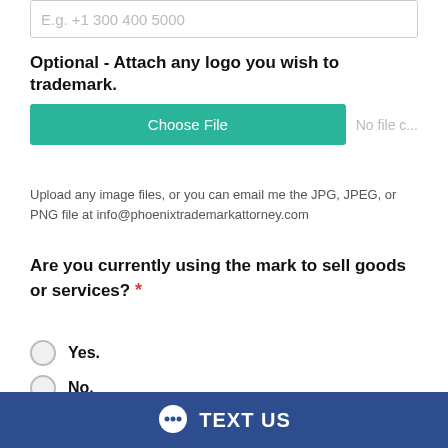E.g. +1 300 400 5000
Optional - Attach any logo you wish to trademark.
[Figure (screenshot): Green 'Choose File' button with 'No file c...' text to the right]
Upload any image files, or you can email me the JPG, JPEG, or PNG file at info@phoenixtrademarkattorney.com
Are you currently using the mark to sell goods or services? *
Yes.
No.
[Figure (screenshot): reCAPTCHA widget with checkbox and 'I'm not a robot' text]
TEXT US